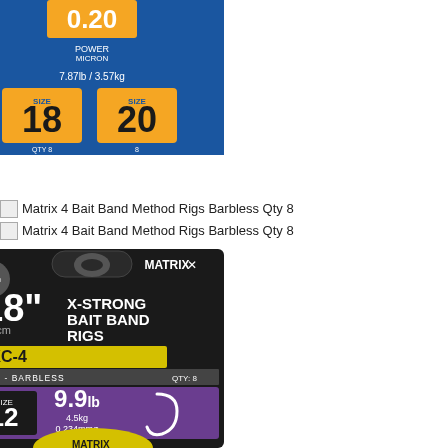[Figure (photo): Top product image of Matrix 4 Bait Band Method Rigs Barbless Qty 8 packaging — showing 0.20mm Power Micron, 7.87lb/3.57kg line, Size 18 and Size 20 hook sizes on blue/orange packaging. QTY 8.]
Matrix 4 Bait Band Method Rigs Barbless Qty 8
Matrix 4 Bait Band Method Rigs Barbless Qty 8
[Figure (photo): Matrix X-Strong Bait Band Rigs MXC-4 packaging. Dark background with purple and yellow accents. Shows 18 inch / 45cm length, MXC-4 hook, Eyed-Barbless, Size 12, 9.9lb / 4.5kg / 0.234mm diameter, QTY: 8. PTFE coated badge top-left, Matrix logo top-right. Hook illustration on right. Bottom shows Matrix MXC-4 branding in yellow circle.]